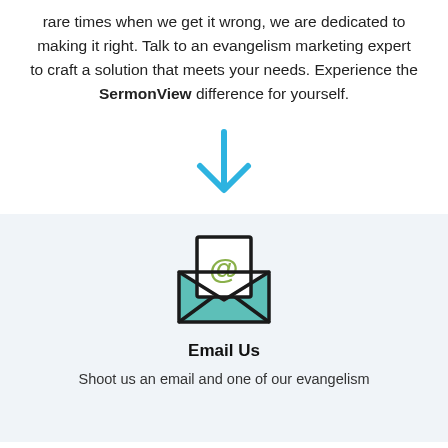rare times when we get it wrong, we are dedicated to making it right. Talk to an evangelism marketing expert to craft a solution that meets your needs. Experience the SermonView difference for yourself.
[Figure (illustration): A large blue downward-pointing arrow icon]
[Figure (illustration): An open envelope icon with a teal envelope body and a white letter showing a green @ symbol]
Email Us
Shoot us an email and one of our evangelism